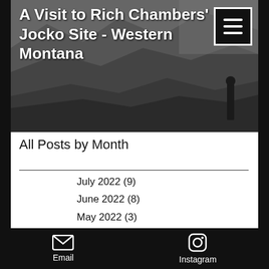[Figure (photo): Black and white photo of rocky hillside or cliff face with dark sky, used as hero banner image]
A Visit to Rich Chambers' Jocko Site - Western Montana
All Posts by Month
July 2022 (9)
June 2022 (8)
May 2022 (3)
April 2022 (6)
March 2022 (4)
February 2022 (1)
December 2021 (1)
November 2021 (2)
October 2021 (1)
September 2021 (13)
August 2021 (1)
Email  Instagram